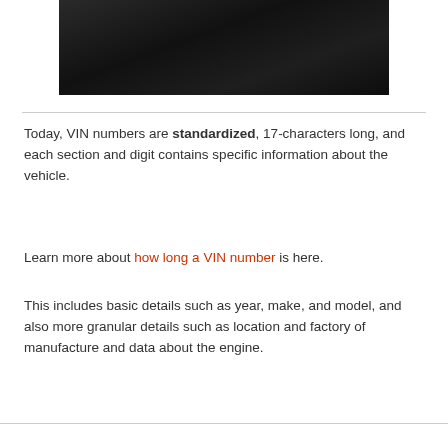[Figure (photo): Dark photograph showing people in a vehicle interior, dimly lit with dark tones]
Today, VIN numbers are standardized, 17-characters long, and each section and digit contains specific information about the vehicle.
Learn more about how long a VIN number is here.
This includes basic details such as year, make, and model, and also more granular details such as location and factory of manufacture and data about the engine.